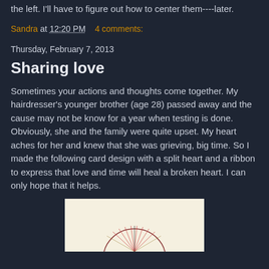the left. I'll have to figure out how to center them----later.
Sandra at 12:20 PM    4 comments:
Thursday, February 7, 2013
Sharing love
Sometimes your actions and thoughts come together. My hairdresser's younger brother (age 28) passed away and the cause may not be know for a year when testing is done. Obviously, she and the family were quite upset. My heart aches for her and knew that she was grieving, big time. So I made the following card design with a split heart and a ribbon to express that love and time will heal a broken heart. I can only hope that it helps.
[Figure (photo): A handmade card with a split heart design and ribbon on a cream/beige background, partially visible at the bottom of the page.]